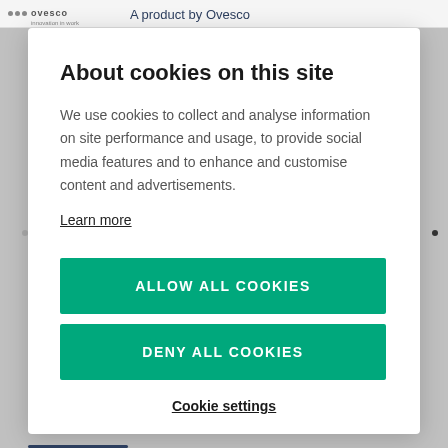A product by Ovesco
About cookies on this site
We use cookies to collect and analyse information on site performance and usage, to provide social media features and to enhance and customise content and advertisements.
Learn more
ALLOW ALL COOKIES
DENY ALL COOKIES
Cookie settings